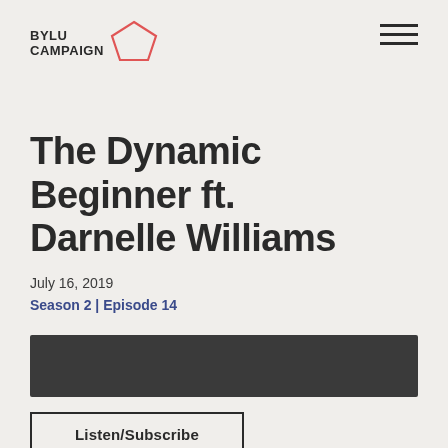BYLU CAMPAIGN
The Dynamic Beginner ft. Darnelle Williams
July 16, 2019
Season 2 | Episode 14
[Figure (other): Dark audio player bar]
Listen/Subscribe